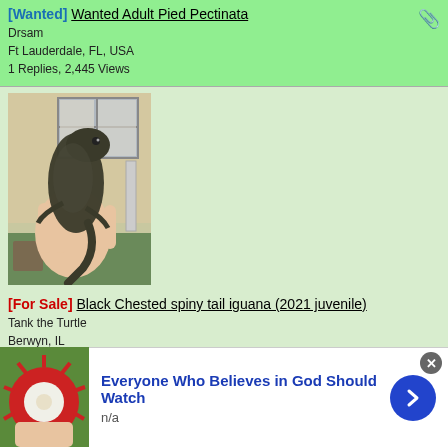[Wanted] Wanted Adult Pied Pectinata
Drsam
Ft Lauderdale, FL, USA
1 Replies, 2,445 Views
[Figure (photo): Hand holding a dark-colored spiny tail iguana outdoors near a building window]
[For Sale] Black Chested spiny tail iguana (2021 juvenile)
Tank the Turtle
Berwyn, IL
0 Replies, 182 Views
[Figure (photo): Wooden/bamboo enclosure or cage partially visible]
Everyone Who Believes in God Should Watch
n/a